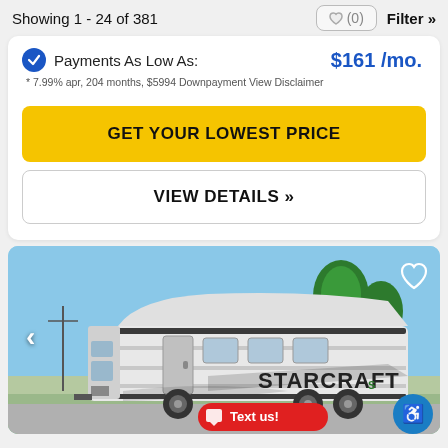Showing 1 - 24 of 381
Payments As Low As: $161 /mo.
* 7.99% apr, 204 months, $5994 Downpayment View Disclaimer
GET YOUR LOWEST PRICE
VIEW DETAILS »
[Figure (photo): A Starcraft travel trailer RV parked outdoors with palm trees in the background under a blue sky. A left navigation arrow is visible on the left side of the image.]